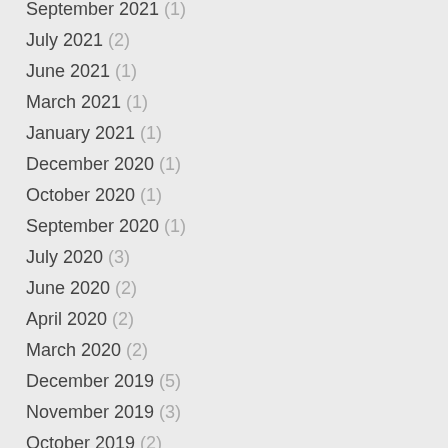September 2021 (1)
July 2021 (2)
June 2021 (1)
March 2021 (1)
January 2021 (1)
December 2020 (1)
October 2020 (1)
September 2020 (1)
July 2020 (3)
June 2020 (2)
April 2020 (2)
March 2020 (2)
December 2019 (5)
November 2019 (3)
October 2019 (2)
September 2019 (1)
August 2019 (3)
July 2019 (2)
June 2019 (1)
May 2019 (2)
January 2019 (4)
December 2018 (1)